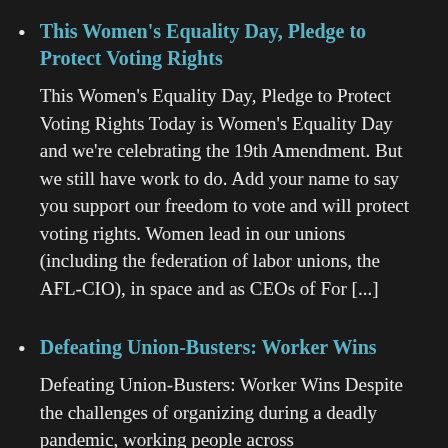This Women's Equality Day, Pledge to Protect Voting Rights
This Women's Equality Day, Pledge to Protect Voting Rights Today is Women's Equality Day and we're celebrating the 19th Amendment. But we still have work to do. Add your name to say you support our freedom to vote and will protect voting rights. Women lead in our unions (including the federation of labor unions, the AFL-CIO), in space and as CEOs of For [...]
Defeating Union-Busters: Worker Wins
Defeating Union-Busters: Worker Wins Despite the challenges of organizing during a deadly pandemic, working people across